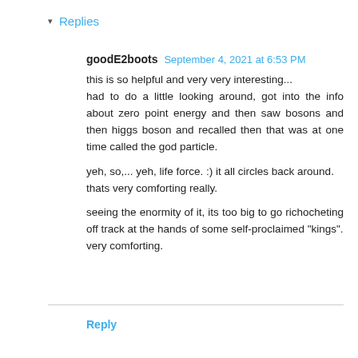▾ Replies
goodE2boots  September 4, 2021 at 6:53 PM
this is so helpful and very very interesting... had to do a little looking around, got into the info about zero point energy and then saw bosons and then higgs boson and recalled then that was at one time called the god particle.

yeh, so,... yeh, life force. :) it all circles back around.
thats very comforting really.

seeing the enormity of it, its too big to go richocheting off track at the hands of some self-proclaimed "kings".
very comforting.
Reply